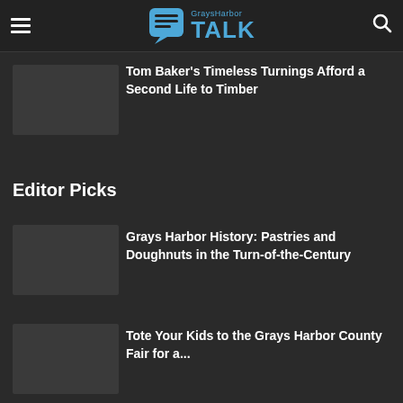GraysHarbor TALK
Tom Baker's Timeless Turnings Afford a Second Life to Timber
Editor Picks
Grays Harbor History: Pastries and Doughnuts in the Turn-of-the-Century
Tote Your Kids to the Grays Harbor County Fair for a...